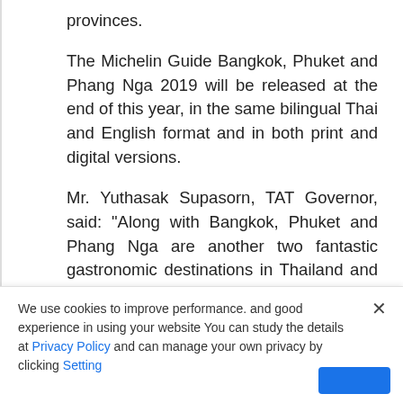provinces.
The Michelin Guide Bangkok, Phuket and Phang Nga 2019 will be released at the end of this year, in the same bilingual Thai and English format and in both print and digital versions.
Mr. Yuthasak Supasorn, TAT Governor, said: “Along with Bangkok, Phuket and Phang Nga are another two fantastic gastronomic destinations in Thailand and it’s only natural the 2019 Michelin Guide be expanded to cover all three. Gastronomy tourism is a main element
We use cookies to improve performance. and good experience in using your website You can study the details at Privacy Policy and can manage your own privacy by clicking Setting